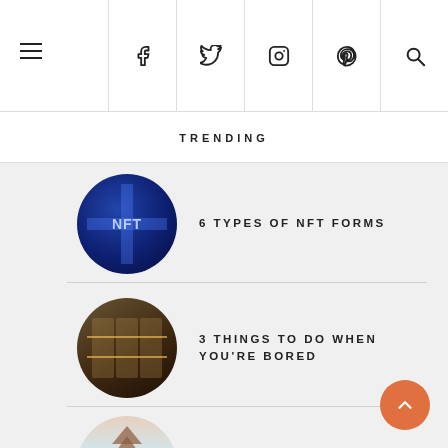Navigation bar with hamburger menu, Facebook, Twitter, Instagram, Pinterest, and Search icons
TRENDING
6 TYPES OF NFT FORMS
3 THINGS TO DO WHEN YOU'RE BORED
JAPANESE CULTURE IN MALAYSIA 2022
3 WAYS TO GENERATE MONEY FROM NFTS